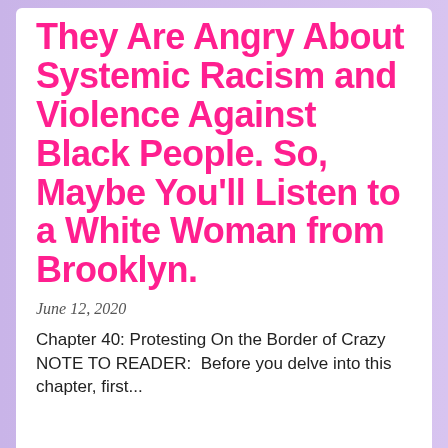They Are Angry About Systemic Racism and Violence Against Black People. So, Maybe You'll Listen to a White Woman from Brooklyn.
June 12, 2020
Chapter 40: Protesting On the Border of Crazy NOTE TO READER:  Before you delve into this chapter, first...